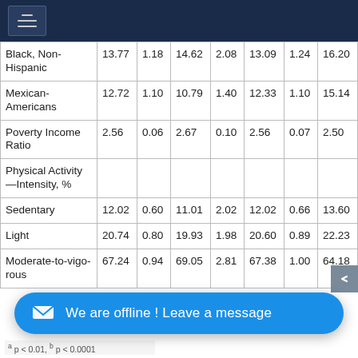Navigation header with hamburger menu
|  |  |  |  |  |  |  |  |
| --- | --- | --- | --- | --- | --- | --- | --- |
| Black, Non-Hispanic | 13.77 | 1.18 | 14.62 | 2.08 | 13.09 | 1.24 | 16.20 |
| Mexican-Americans | 12.72 | 1.10 | 10.79 | 1.40 | 12.33 | 1.10 | 15.14 |
| Poverty Income Ratio | 2.56 | 0.06 | 2.67 | 0.10 | 2.56 | 0.07 | 2.50 |
| Physical Activity—Intensity, % |  |  |  |  |  |  |  |
| Sedentary | 12.02 | 0.60 | 11.01 | 2.02 | 12.02 | 0.66 | 13.60 |
| Light | 20.74 | 0.80 | 19.93 | 1.98 | 20.60 | 0.89 | 22.23 |
| Moderate-to-vigorous | 67.24 | 0.94 | 69.05 | 2.81 | 67.38 | 1.00 | 64.18 |
a p < 0.01, b p < 0.0001